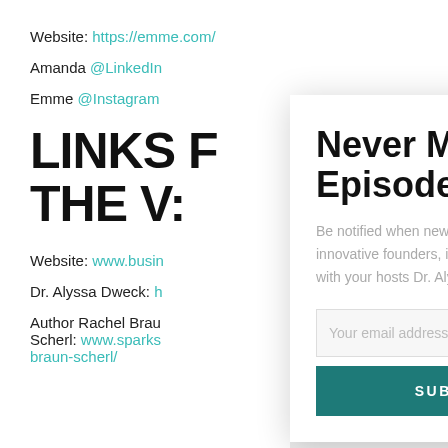Website: https://emme.com/
Amanda @LinkedIn
Emme @Instagram
LINKS FO THE V:
Website: www.busin
Dr. Alyssa Dweck: h
Author Rachel Braun Scherl: www.sparks braun-scherl/
[Figure (screenshot): Modal popup with title 'Never Miss An Episode', subscription text, email input, SUBSCRIBE button, and CLOSE button in teal]